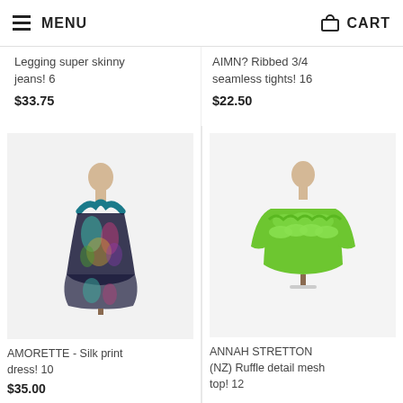MENU | CART
Legging super skinny jeans! 6
$33.75
AIMN? Ribbed 3/4 seamless tights! 16
$22.50
[Figure (photo): Multicolored silk print dress on a mannequin, halter-style with teal straps, flowing asymmetric hem]
[Figure (photo): Green ruffle detail mesh top on a mannequin, long sleeves, scalloped ruffle decoration at neckline and chest]
AMORETTE - Silk print dress! 10
$35.00
ANNAH STRETTON (NZ) Ruffle detail mesh top! 12